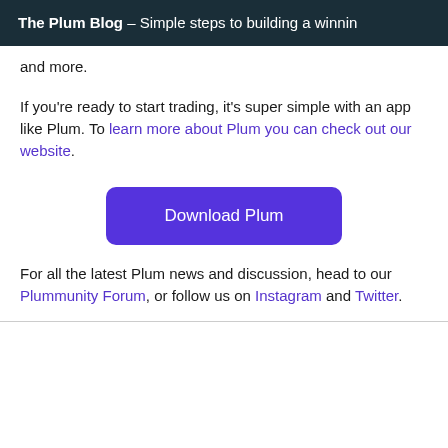The Plum Blog – Simple steps to building a winnin
and more.
If you're ready to start trading, it's super simple with an app like Plum. To learn more about Plum you can check out our website.
[Figure (other): Download Plum button — purple rounded rectangle with white text]
For all the latest Plum news and discussion, head to our Plummunity Forum, or follow us on Instagram and Twitter.